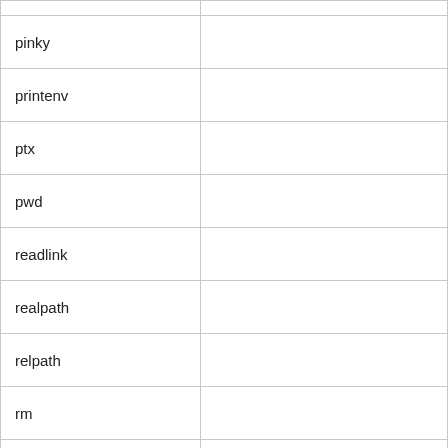| pinky |  |
| printenv |  |
| ptx |  |
| pwd |  |
| readlink |  |
| realpath |  |
| relpath |  |
| rm |  |
| rmdir |  |
| runcon |  |
| seq |  |
| shred |  |
| shuf |  |